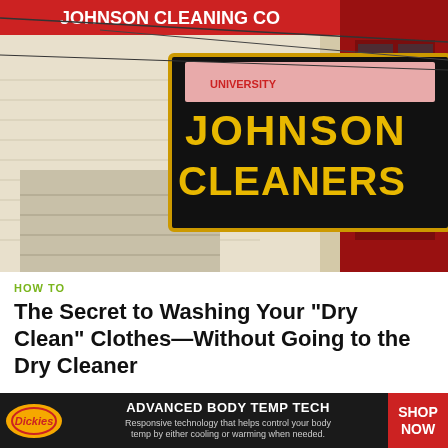[Figure (photo): Exterior photo of Johnson Cleaners storefront with a dark sign reading 'JOHNSON CLEANERS' in gold/yellow lettering, red trim visible on the right, worn building exterior]
HOW TO
The Secret to Washing Your "Dry Clean" Clothes—Without Going to the Dry Cleaner
[Figure (photo): Close-up photo of the inside of a stainless steel washing machine drum, dark tones with reflective metallic surface]
[Figure (photo): Dickies advertisement banner: ADVANCED BODY TEMP TECH - Responsive technology that helps control your body temp by either cooling or warming when needed. SHOP NOW button on red background.]